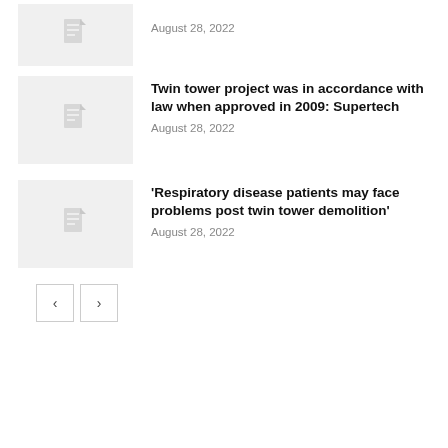[Figure (other): Thumbnail placeholder with document icon]
August 28, 2022
Twin tower project was in accordance with law when approved in 2009: Supertech
August 28, 2022
[Figure (other): Thumbnail placeholder with document icon]
'Respiratory disease patients may face problems post twin tower demolition'
August 28, 2022
[Figure (other): Thumbnail placeholder with document icon]